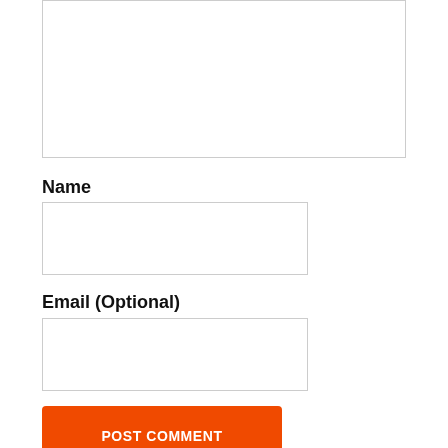[Figure (other): Textarea input box (top of form, partially visible)]
Name
[Figure (other): Name input field (text box)]
Email (Optional)
[Figure (other): Email input field (text box)]
POST COMMENT
Recent Mods
[Figure (photo): Thumbnail image for Sophisticated Wolves Mod]
[1.12.2] Sophisticated Wolves Mod